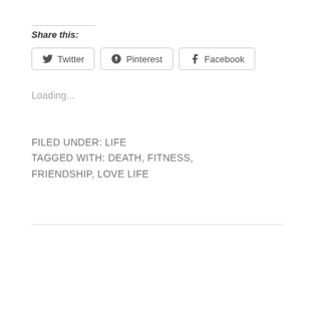Share this:
Twitter   Pinterest   Facebook
Loading...
FILED UNDER: LIFE
TAGGED WITH: DEATH, FITNESS, FRIENDSHIP, LOVE LIFE